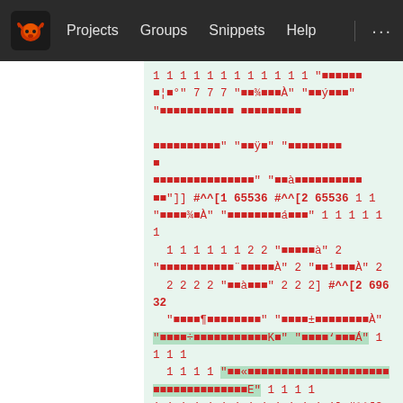Projects  Groups  Snippets  Help
1 1 1 1 1 1 1 1 1 1 1 1 "[encoded text]" 7 7 7 "[encoded text]" "[encoded text]" "[encoded text][encoded text] [encoded text]" "[encoded text]" "[encoded text]" [encoded char] "[encoded text]" "[encoded text]" "[encoded text]" "[encoded text]"] #^^[1 65536 #^^[2 65536 1 1 "[encoded text]" "[encoded text]" 1 1 1 1 1 1 1 1 1 1 1 1 2 2 "[encoded text]" 2 "[encoded text]" 2 "[encoded text]" 2 2 2 2 2 "[encoded text]" 2 2 2] #^^[2 69632 "[encoded text]" "[encoded text]" "[encoded text]" "[encoded text]" 1 1 1 1 1 1 1 1 "[encoded text]" 1 1 1 1 1 1 1 1 1 1 1 1 1] #^^[2 73728 1 1 1 1 1 1 1 1 1 1 1 1 1 1 1 1 1 1 1 1 1 1 1 1 1 1 1 1] #^^[2 77824 1 1 1 1 1 1 1 1 1 1 1 1 1 1 1 1 1 1 1 1 1 1 1 1 1 1 1 1